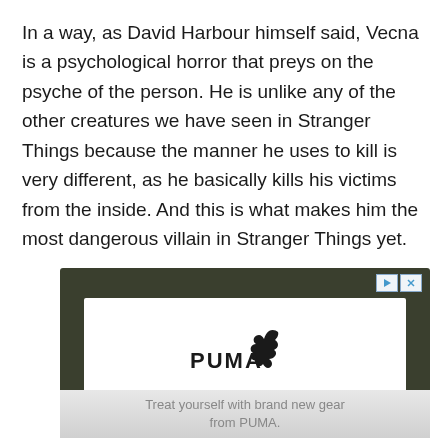In a way, as David Harbour himself said, Vecna is a psychological horror that preys on the psyche of the person. He is unlike any of the other creatures we have seen in Stranger Things because the manner he uses to kill is very different, as he basically kills his victims from the inside. And this is what makes him the most dangerous villain in Stranger Things yet.
[Figure (other): PUMA advertisement banner with PUMA logo (leaping cat icon with bold PUMA wordmark), tagline 'Play At Your Best', and footer text 'Treat yourself with brand new gear from PUMA.' on a dark olive/gray background with white inner card.]